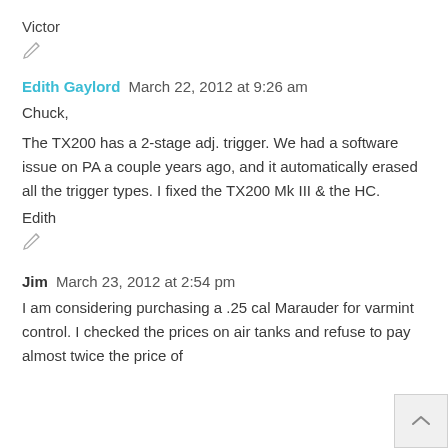Victor
[Figure (illustration): Pencil/edit icon]
Edith Gaylord  March 22, 2012 at 9:26 am
Chuck,
The TX200 has a 2-stage adj. trigger. We had a software issue on PA a couple years ago, and it automatically erased all the trigger types. I fixed the TX200 Mk III & the HC.
Edith
[Figure (illustration): Pencil/edit icon]
Jim  March 23, 2012 at 2:54 pm
I am considering purchasing a .25 cal Marauder for varmint control. I checked the prices on air tanks and refuse to pay almost twice the price of